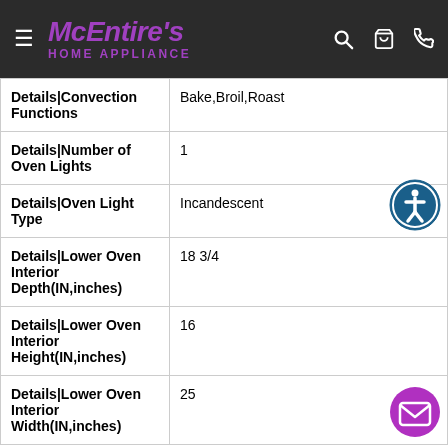McEntire's HOME APPLIANCE
| Feature | Value |
| --- | --- |
| Details|Convection Functions | Bake,Broil,Roast |
| Details|Number of Oven Lights | 1 |
| Details|Oven Light Type | Incandescent |
| Details|Lower Oven Interior Depth(IN,inches) | 18 3/4 |
| Details|Lower Oven Interior Height(IN,inches) | 16 |
| Details|Lower Oven Interior Width(IN,inches) | 25 |